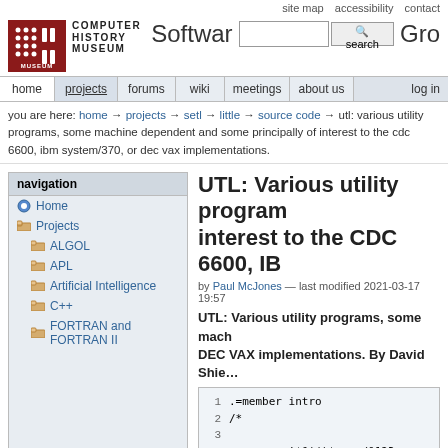site map   accessibility   contact
[Figure (logo): Computer History Museum logo with red square grid icon and text COMPUTER HISTORY MUSEUM]
Software Gr [search bar] search
Navigation bar: home | projects | forums | wiki | meetings | about us | log in
you are here: home → projects → setl → little → source code → utl: various utility programs, some machine dependent and some principally of interest to the cdc 6600, ibm system/370, or dec vax implementations.
navigation
Home
Projects
ALGOL
APL
Artificial Intelligence
C++
FORTRAN and FORTRAN II
UTL: Various utility programs, some machine dependent and some principally of interest to the CDC 6600, IB...
by Paul McJones — last modified 2021-03-17 19:57
UTL: Various utility programs, some machine dependent and some principally of interest to the CDC 6600, IBM System/370, or DEC VAX implementations. By David Shie...
1 .=member intro
2  /*
3
4          !$&'()*+,-./0123
5          the above line co
6          characters of the